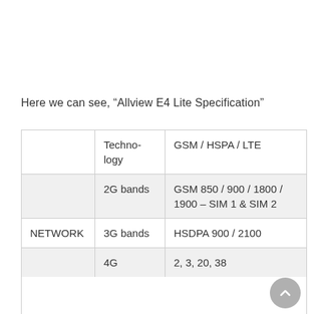Here we can see, “Allview E4 Lite Specification”
|  | Technology / Band | Value |
| --- | --- | --- |
|  | Technology | GSM / HSPA / LTE |
| NETWORK | 2G bands | GSM 850 / 900 / 1800 / 1900 – SIM 1 & SIM 2 |
| NETWORK | 3G bands | HSDPA 900 / 2100 |
| NETWORK | 4G | 2, 3, 20, 38 |